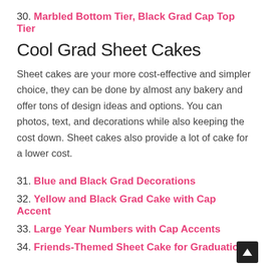30. Marbled Bottom Tier, Black Grad Cap Top Tier
Cool Grad Sheet Cakes
Sheet cakes are your more cost-effective and simpler choice, they can be done by almost any bakery and offer tons of design ideas and options. You can photos, text, and decorations while also keeping the cost down. Sheet cakes also provide a lot of cake for a lower cost.
31. Blue and Black Grad Decorations
32. Yellow and Black Grad Cake with Cap Accent
33. Large Year Numbers with Cap Accents
34. Friends-Themed Sheet Cake for Graduation